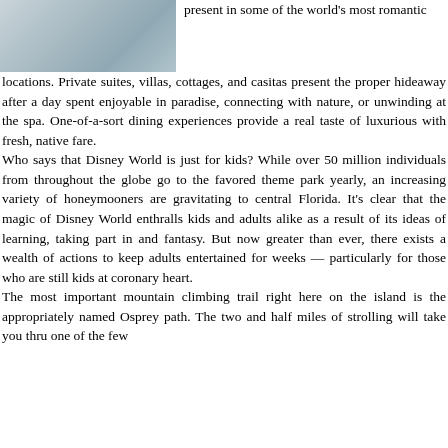[Figure (photo): A photo of what appears to be a luxury resort setting with white furniture/bedding, likely a suite or outdoor area.]
present in some of the world's most romantic locations. Private suites, villas, cottages, and casitas present the proper hideaway after a day spent enjoyable in paradise, connecting with nature, or unwinding at the spa. One-of-a-sort dining experiences provide a real taste of luxurious with fresh, native fare.
Who says that Disney World is just for kids? While over 50 million individuals from throughout the globe go to the favored theme park yearly, an increasing variety of honeymooners are gravitating to central Florida. It's clear that the magic of Disney World enthralls kids and adults alike as a result of its ideas of learning, taking part in and fantasy. But now greater than ever, there exists a wealth of actions to keep adults entertained for weeks — particularly for those who are still kids at coronary heart.
The most important mountain climbing trail right here on the island is the appropriately named Osprey path. The two and half miles of strolling will take you thru one of the few